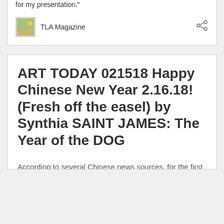for my presentation."
TLA Magazine
ART TODAY 021518 Happy Chinese New Year 2.16.18! (Fresh off the easel) by Synthia SAINT JAMES: The Year of the DOG
According to several Chinese news sources, for the first time – because of poor air quality in Beijing, there will be no firework displays in the Sky this year. It creates too much smog. Some people are happy about this and some are not. Still, Happy Chinese New Year everyone, fireworks or no fireworks!